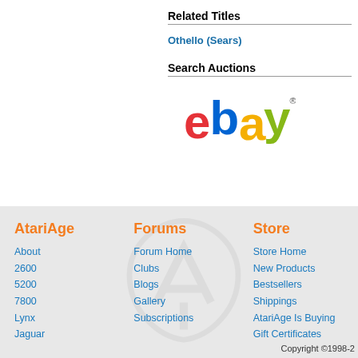Related Titles
Othello (Sears)
Search Auctions
[Figure (logo): eBay logo with red 'e', blue 'b', yellow 'a', green 'y' and registered trademark symbol]
AtariAge
About
2600
5200
7800
Lynx
Jaguar
Forums
Forum Home
Clubs
Blogs
Gallery
Subscriptions
Store
Store Home
New Products
Bestsellers
Shippings
AtariAge Is Buying
Gift Certificates
Copyright ©1998-2